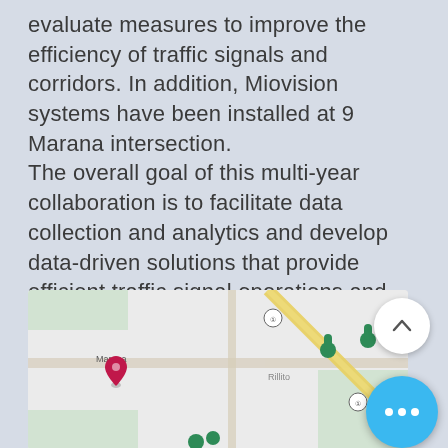evaluate measures to improve the efficiency of traffic signals and corridors. In addition, Miovision systems have been installed at 9 Marana intersection. The overall goal of this multi-year collaboration is to facilitate data collection and analytics and develop data-driven solutions that provide efficient traffic signal operations and optimal progression along key corridors within the entire Town of Marana. Efficient traffic operations save time and money, and positions the Town for future investment in business and technology.
[Figure (map): Map showing the Town of Marana area with road intersections, a red location pin marker near Marana label, green map markers on the right side, and a yellow diagonal road. Interstate markers visible.]